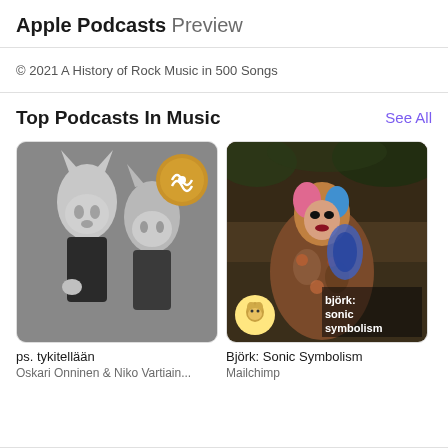Apple Podcasts Preview
© 2021 A History of Rock Music in 500 Songs
Top Podcasts In Music
See All
[Figure (photo): Black and white photo of two people wearing knitted animal-ear balaclava masks, podcast cover for 'ps. tykitellään', with a golden circular logo badge in the top right corner]
ps. tykitellään
Oskari Onninen & Niko Vartiain...
[Figure (photo): Photo of Björk sitting outdoors in a floral outfit holding a blue musical instrument, with text 'björk: sonic symbolism' in white on the lower right, and a Mailchimp logo badge in the lower left]
Björk: Sonic Symbolism
Mailchimp
[Figure (photo): Partially visible third podcast cover, dark/black background with a small white icon visible]